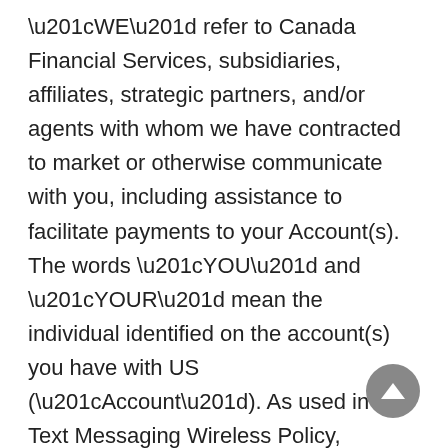“WE” refer to Canada Financial Services, subsidiaries, affiliates, strategic partners, and/or agents with whom we have contracted to market or otherwise communicate with you, including assistance to facilitate payments to your Account(s). The words “YOU” and “YOUR” mean the individual identified on the account(s) you have with US (“Account”). As used in this Text Messaging Wireless Policy, “Text Notifications” means any text message communication from us to you pertaining to your Application / Account including, but not limited to, marketing, application, account or payment information, promotions, due date reminders, delinquent accounts, coupons and other marketing materials.